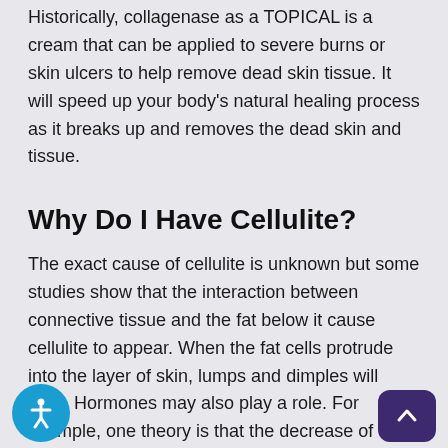Historically, collagenase as a TOPICAL is a cream that can be applied to severe burns or skin ulcers to help remove dead skin tissue. It will speed up your body's natural healing process as it breaks up and removes the dead skin and tissue.
Why Do I Have Cellulite?
The exact cause of cellulite is unknown but some studies show that the interaction between connective tissue and the fat below it cause cellulite to appear. When the fat cells protrude into the layer of skin, lumps and dimples will form. Hormones may also play a role. For example, one theory is that the decrease of estrogen in aging women, blood flow to the connect tissue decreases and lower circulation results in lower co duction. Diet and lifestyle may also cause cellu gh fat and carbs will cause excess fat in the skin.